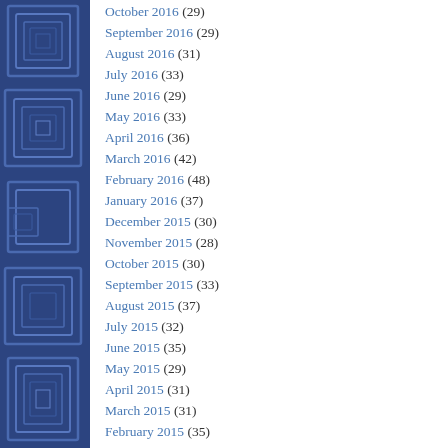[Figure (illustration): Blue decorative sidebar with geometric square/rectangle maze-like pattern on dark blue background]
October 2016 (29)
September 2016 (29)
August 2016 (31)
July 2016 (33)
June 2016 (29)
May 2016 (33)
April 2016 (36)
March 2016 (42)
February 2016 (48)
January 2016 (37)
December 2015 (30)
November 2015 (28)
October 2015 (30)
September 2015 (33)
August 2015 (37)
July 2015 (32)
June 2015 (35)
May 2015 (29)
April 2015 (31)
March 2015 (31)
February 2015 (35)
January 2015 (34)
December 2014 (35)